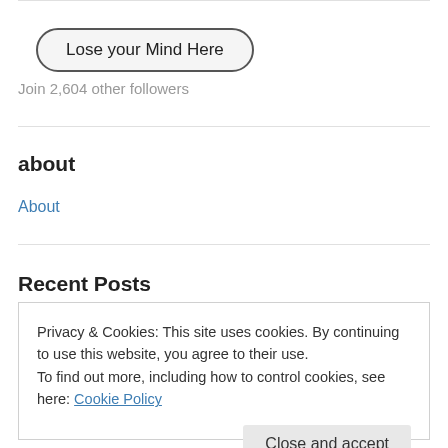[Figure (screenshot): Follow button styled as a pill/rounded rectangle with label 'Lose your Mind Here']
Join 2,604 other followers
about
About
Recent Posts
My Sister Effed My Sex Life
Privacy & Cookies: This site uses cookies. By continuing to use this website, you agree to their use.
To find out more, including how to control cookies, see here: Cookie Policy
Close and accept